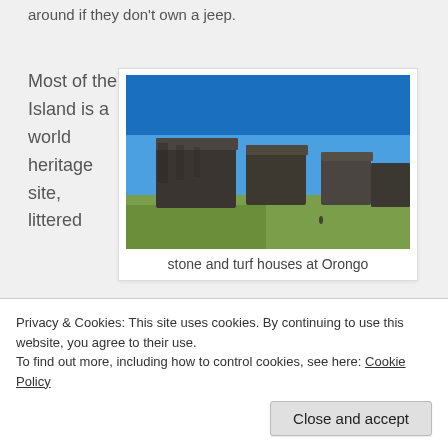around if they don't own a jeep.
Most of the Island is a world heritage site, littered
[Figure (photo): Photo of stone and turf houses at Orongo, Easter Island, showing dark stone structures on a green hillside against a bright blue sky.]
stone and turf houses at Orongo
Privacy & Cookies: This site uses cookies. By continuing to use this website, you agree to their use.
To find out more, including how to control cookies, see here: Cookie Policy
there are a few theories, but noone's really sure